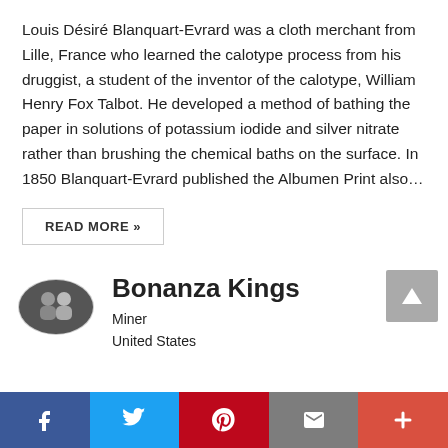Louis Désiré Blanquart-Evrard was a cloth merchant from Lille, France who learned the calotype process from his druggist, a student of the inventor of the calotype, William Henry Fox Talbot. He developed a method of bathing the paper in solutions of potassium iodide and silver nitrate rather than brushing the chemical baths on the surface. In 1850 Blanquart-Evrard published the Albumen Print also…
READ MORE »
[Figure (photo): Small oval black and white portrait photo of two people]
Bonanza Kings
Miner
United States
[Figure (other): Social sharing bar with Facebook, Twitter, Pinterest, Email, and Plus buttons]